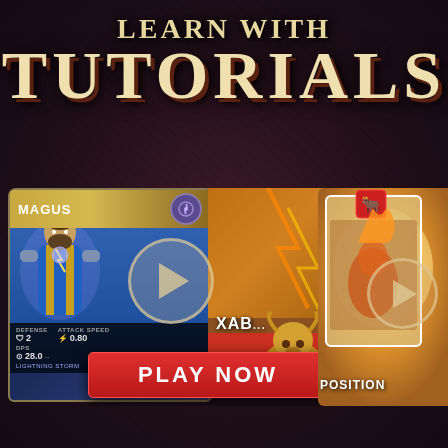LEARN WITH TUTORIALS
[Figure (screenshot): Game promotional image showing fantasy card game 'MAGUS' character card with warrior/mage figure, stats showing DEFENSE 2, ATTACK SPEED 0.80, DPS 28.0, ability LIGHTNING STORM, alongside game scene with 'XAB' text and bull creature character, plus play button overlay]
[Figure (screenshot): Right side game screenshot showing character card with bull icon, golden/fire background scene with another character, play button overlay, and POSITION label at bottom]
TH.
POSITION
PLAY NOW